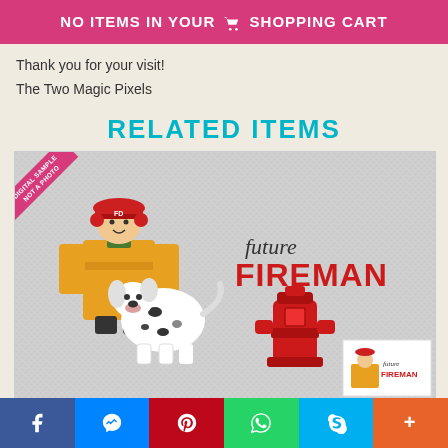NO ITEMS IN YOUR SHOPPING CART
Thank you for your visit!
The Two Magic Pixels
RELATED ITEMS
[Figure (photo): Pixel art crochet blanket showing a child fireman in yellow coat and red helmet, a white dalmatian dog, a red fire hydrant, and text reading 'Future FIREMAN'. A small thumbnail inset is shown bottom right. A diagonal pink badge reads 'DIGITAL SAMPLE NOT A PHOTO'.]
Social share bar: Facebook, Messenger, Pinterest, WhatsApp, Skype, More